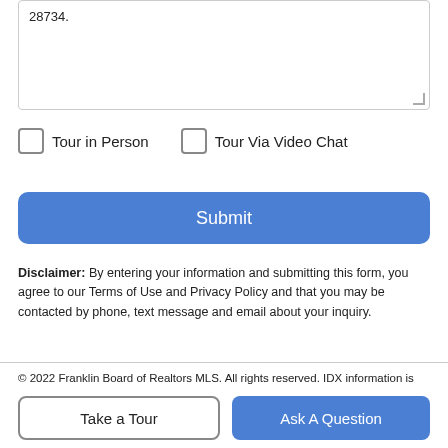28734.
Tour in Person
Tour Via Video Chat
Submit
Disclaimer: By entering your information and submitting this form, you agree to our Terms of Use and Privacy Policy and that you may be contacted by phone, text message and email about your inquiry.
© 2022 Franklin Board of Realtors MLS. All rights reserved. IDX information is provided exclusively for consumers' personal, non-commercial use and may not be used for any purpose other than
Take a Tour
Ask A Question